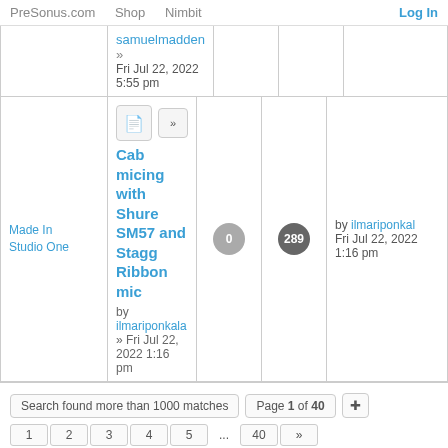PreSonus.com   Shop   Nimbit   Log In
| Category | Topic | Replies | Views | Last Post |
| --- | --- | --- | --- | --- |
|  | samuelmadden »
Fri Jul 22, 2022
5:55 pm |  |  |  |
| Made In
Studio One | Cab micing with Shure SM57 and Stagg Ribbon mic
by ilmariponkala
» Fri Jul 22, 2022 1:16 pm | 0 | 289 | by ilmariponkala
Fri Jul 22, 2022
1:16 pm |
Search found more than 1000 matches   Page 1 of 40
1  2  3  4  5  ...  40  »
Sort by  Post time  Descending
Display  All results  Go